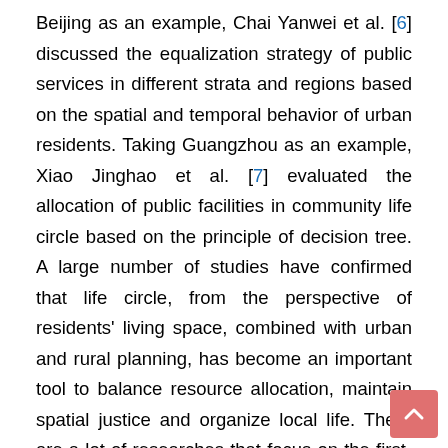Beijing as an example, Chai Yanwei et al. [6] discussed the equalization strategy of public services in different strata and regions based on the spatial and temporal behavior of urban residents. Taking Guangzhou as an example, Xiao Jinghao et al. [7] evaluated the allocation of public facilities in community life circle based on the principle of decision tree. A large number of studies have confirmed that life circle, from the perspective of residents' living space, combined with urban and rural planning, has become an important tool to balance resource allocation, maintain spatial justice and organize local life. There are a lot of researches that focus on the first- and second-tier cities in China. However, the third and fourth-tier cities are also the main body of China's development and the “short slab” of modern city construction. Therefore, this paper focuses on the allocation of public service facilities in the third-tier urban life circle, and combines with relevant research to explore the optimal strategies